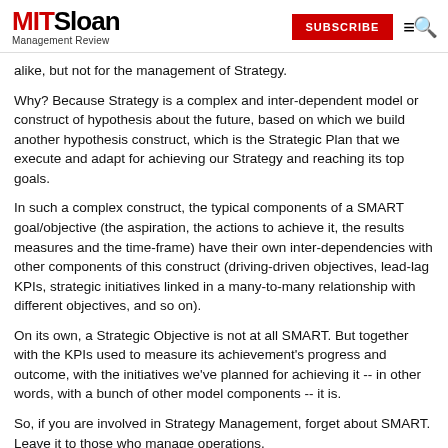MIT Sloan Management Review | SUBSCRIBE
alike, but not for the management of Strategy.
Why? Because Strategy is a complex and inter-dependent model or construct of hypothesis about the future, based on which we build another hypothesis construct, which is the Strategic Plan that we execute and adapt for achieving our Strategy and reaching its top goals.
In such a complex construct, the typical components of a SMART goal/objective (the aspiration, the actions to achieve it, the results measures and the time-frame) have their own inter-dependencies with other components of this construct (driving-driven objectives, lead-lag KPIs, strategic initiatives linked in a many-to-many relationship with different objectives, and so on).
On its own, a Strategic Objective is not at all SMART. But together with the KPIs used to measure its achievement's progress and outcome, with the initiatives we've planned for achieving it -- in other words, with a bunch of other model components -- it is.
So, if you are involved in Strategy Management, forget about SMART. Leave it to those who manage operations.